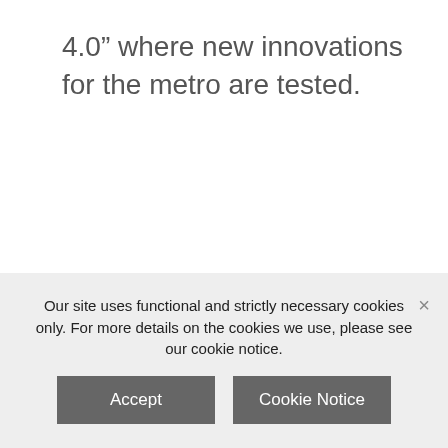4.0” where new innovations for the metro are tested.
Our site uses functional and strictly necessary cookies only. For more details on the cookies we use, please see our cookie notice.
Accept
Cookie Notice